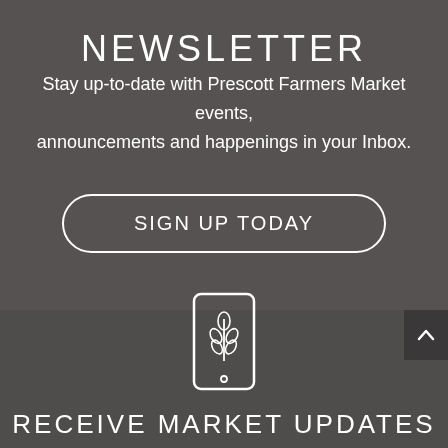NEWSLETTER
Stay up-to-date with Prescott Farmers Market events, announcements and happenings in your Inbox.
SIGN UP TODAY
[Figure (illustration): Phone/mobile device icon with a wheat/grain symbol inside, outline style, white on dark background]
RECEIVE MARKET UPDATES